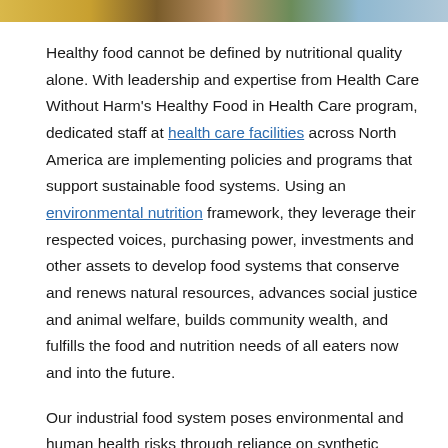[Figure (photo): Cropped strip of food images at top of page]
Healthy food cannot be defined by nutritional quality alone. With leadership and expertise from Health Care Without Harm's Healthy Food in Health Care program, dedicated staff at health care facilities across North America are implementing policies and programs that support sustainable food systems. Using an environmental nutrition framework, they leverage their respected voices, purchasing power, investments and other assets to develop food systems that conserve and renews natural resources, advances social justice and animal welfare, builds community wealth, and fulfills the food and nutrition needs of all eaters now and into the future.
Our industrial food system poses environmental and human health risks through reliance on synthetic pesticides, fossil-fuel-based fertilizers, antibiotics, and hormones, as well as low-wage laborers who face unsafe working conditions. We know that with dietary changes and reduced food waste we can feed a growing global population in a sustainable way that supports human and